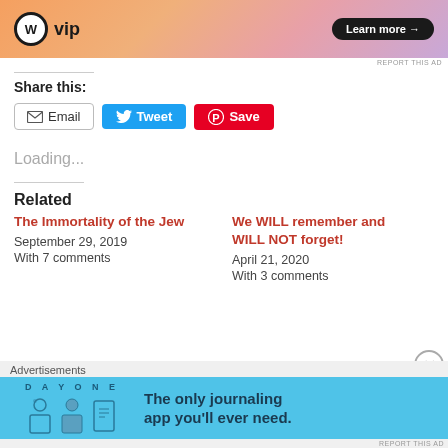[Figure (screenshot): WordPress VIP advertisement banner with gradient background showing WP logo, 'vip' text, and 'Learn more →' button]
REPORT THIS AD
Share this:
Email
Tweet
Save
Loading...
Related
The Immortality of the Jew
September 29, 2019
With 7 comments
We WILL remember and WILL NOT forget!
April 21, 2020
With 3 comments
Advertisements
[Figure (screenshot): Day One journaling app advertisement on blue background with text 'The only journaling app you'll ever need.']